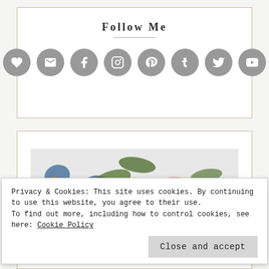Follow Me
[Figure (infographic): Row of 8 circular grey social media icon buttons: heart/bloglovin, email, facebook, instagram, pinterest, tumblr, twitter, youtube]
[Figure (illustration): Annual Catalog cover with watercolor floral design featuring blue, pink, and green flowers. Text reads ANNUAL CATALOG MAY 2022–APRIL 2023]
Privacy & Cookies: This site uses cookies. By continuing to use this website, you agree to their use.
To find out more, including how to control cookies, see here: Cookie Policy
Close and accept